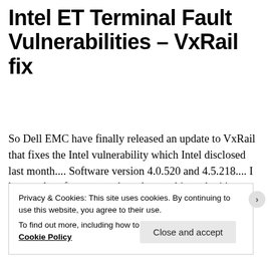Intel ET Terminal Fault Vulnerabilities – VxRail fix
So Dell EMC have finally released an update to VxRail that fixes the Intel vulnerability which Intel disclosed last month.... Software version 4.0.520 and 4.5.218.... I know a lot of customers have been asking why it's taken so long, but they have to understand that the VxRail is a turnkey appliance which means Dell EMC ... Continue reading
Privacy & Cookies: This site uses cookies. By continuing to use this website, you agree to their use. To find out more, including how to control cookies, see here: Cookie Policy